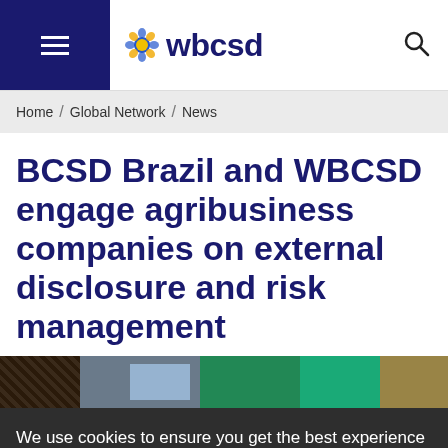wbcsd
Home / Global Network / News
BCSD Brazil and WBCSD engage agribusiness companies on external disclosure and risk management
[Figure (photo): Partial view of an event or conference room with colorful banners/displays]
We use cookies to ensure you get the best experience on our website. By choosing to continue, you agree to our use of cookies. You can learn